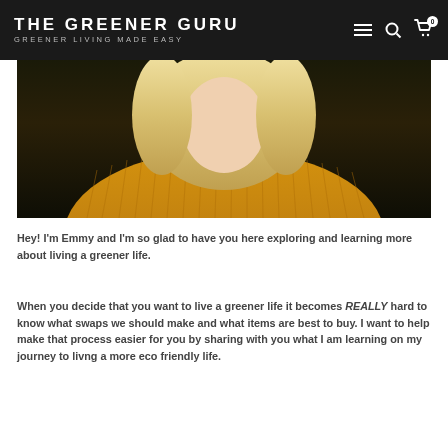THE GREENER GURU — GREENER LIVING MADE EASY
[Figure (photo): Photo of a blonde woman wearing a yellow/mustard ribbed sweater, cropped to show torso and partial face]
Hey!  I'm Emmy and I'm so glad to have you here exploring and learning more about living a greener life.
When you decide that you want to live a greener life it becomes REALLY hard to know what swaps we should make and what items are best to buy.  I want to help make that process easier for you by sharing with you what I am learning on my journey to livng a more eco friendly life.